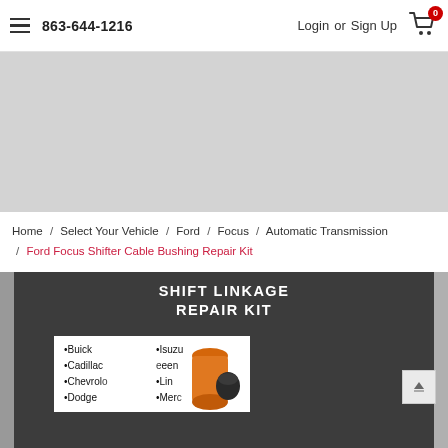863-644-1216  Login or Sign Up  Cart: 0
[Figure (photo): Grey banner/advertisement area at top of page below header]
Home / Select Your Vehicle / Ford / Focus / Automatic Transmission / Ford Focus Shifter Cable Bushing Repair Kit
[Figure (photo): Product image showing Shift Linkage Repair Kit packaging with text listing Buick, Cadillac, Chevrolet, Dodge, Isuzu, Jeep, Lincoln, Mercury and orange bushing parts]